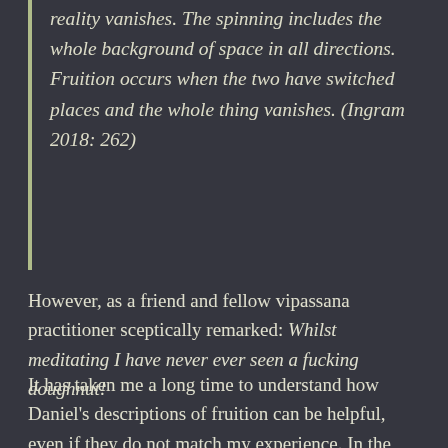reality vanishes. The spinning includes the whole background of space in all directions. Fruition occurs when the two have switched places and the whole thing vanishes. (Ingram 2018: 262)
However, as a friend and fellow vipassana practitioner sceptically remarked: Whilst meditating I have never ever seen a fucking doughnut!
It has taken me a long time to understand how Daniel's descriptions of fruition can be helpful, even if they do not match my experience. In the moment before a fruition I often